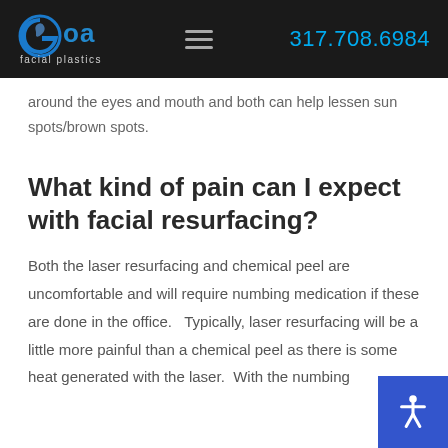GOA facial plastics | 317.708.6984
around the eyes and mouth and both can help lessen sun spots/brown spots.
What kind of pain can I expect with facial resurfacing?
Both the laser resurfacing and chemical peel are uncomfortable and will require numbing medication if these are done in the office.   Typically, laser resurfacing will be a little more painful than a chemical peel as there is some heat generated with the laser.  With the numbing